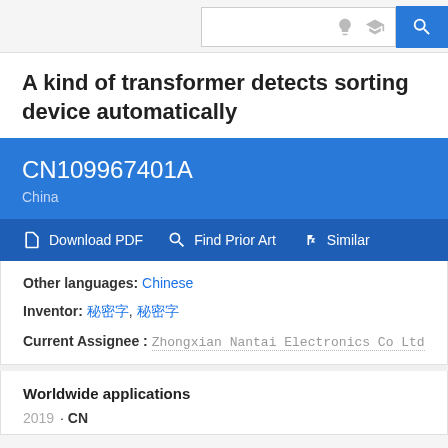[Search bar with lightbulb, graduation cap icons and search button]
A kind of transformer detects sorting device automatically
CN109967401A
China
Download PDF  Find Prior Art  Similar
Other languages: Chinese
Inventor: [Chinese characters], [Chinese characters]
Current Assignee : Zhongxian Nantai Electronics Co Ltd
Worldwide applications
2019 · CN